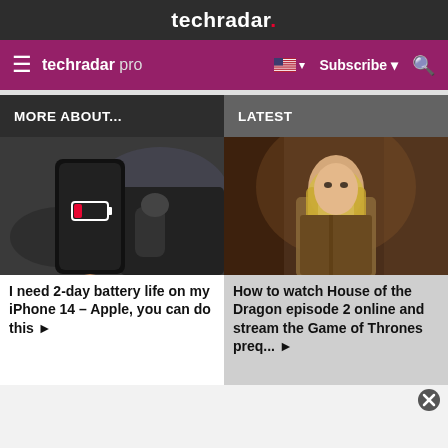techradar.
techradar pro  Subscribe
MORE ABOUT...
LATEST
[Figure (photo): Hand holding a smartphone with a low battery icon, car interior in background]
I need 2-day battery life on my iPhone 14 – Apple, you can do this ▶
[Figure (photo): Blonde woman in medieval costume, scene from House of the Dragon TV show]
How to watch House of the Dragon episode 2 online and stream the Game of Thrones preq... ▶